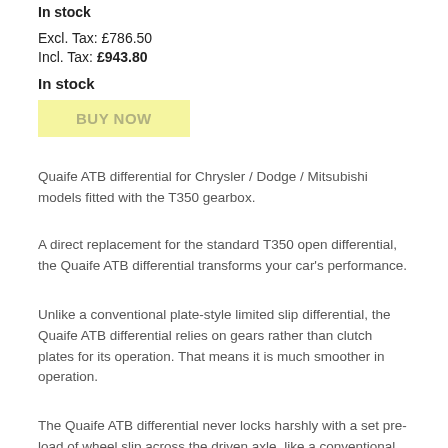In stock
Excl. Tax: £786.50
Incl. Tax: £943.80
In stock
[Figure (other): Yellow BUY NOW button]
Quaife ATB differential for Chrysler / Dodge / Mitsubishi models fitted with the T350 gearbox.
A direct replacement for the standard T350 open differential, the Quaife ATB differential transforms your car's performance.
Unlike a conventional plate-style limited slip differential, the Quaife ATB differential relies on gears rather than clutch plates for its operation. That means it is much smoother in operation.
The Quaife ATB differential never locks harshly with a set pre-load of wheel slip across the driven axle, like a conventional LSD.